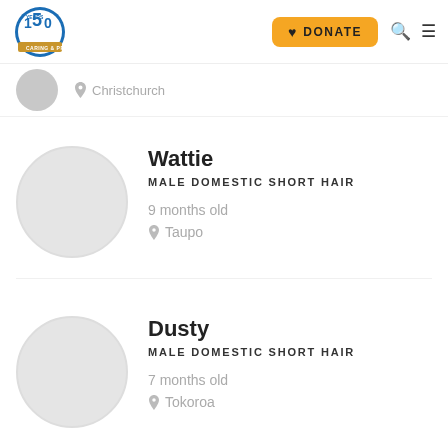SPCA 150 Years — DONATE, Search, Menu
Christchurch
Wattie
MALE DOMESTIC SHORT HAIR
9 months old
Taupo
Dusty
MALE DOMESTIC SHORT HAIR
7 months old
Tokoroa